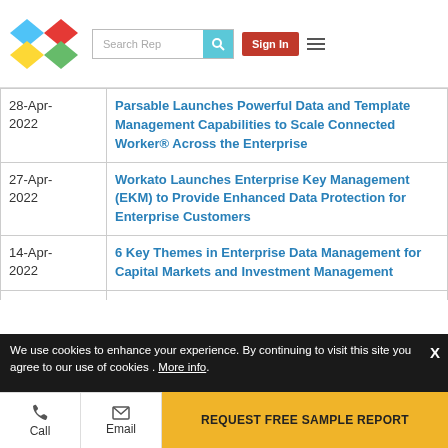Search Rep | Sign In
| Date | Title |
| --- | --- |
| 28-Apr-2022 | Parsable Launches Powerful Data and Template Management Capabilities to Scale Connected Worker® Across the Enterprise |
| 27-Apr-2022 | Workato Launches Enterprise Key Management (EKM) to Provide Enhanced Data Protection for Enterprise Customers |
| 14-Apr-2022 | 6 Key Themes in Enterprise Data Management for Capital Markets and Investment Management |
| 29-Mar-2022 | Infotel Corp Solidifies Position in Global Enterprise Data Management, Governance, and Compliance with deepeo™ Portfolio Addition |
| 01-Mar-... | Zaloni Named Top 10 Enterprise Metadata... |
We use cookies to enhance your experience. By continuing to visit this site you agree to our use of cookies . More info.
Call | Email | REQUEST FREE SAMPLE REPORT